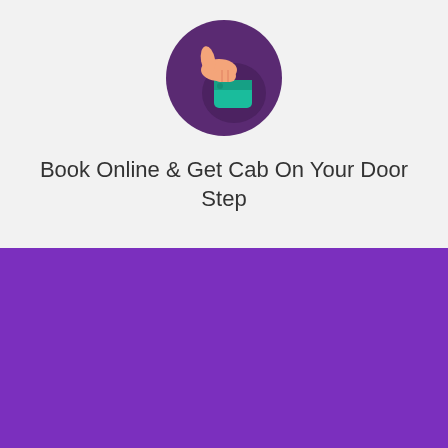[Figure (illustration): A thumbs-up hand icon inside a dark purple circle, cartoon style with a teal sleeve.]
Book Online & Get Cab On Your Door Step
Reliable & Trusted O2 Academy Leeds Taxis & Minicab's Quote Service
GET INSTANT QUOTE & BOOK NOW